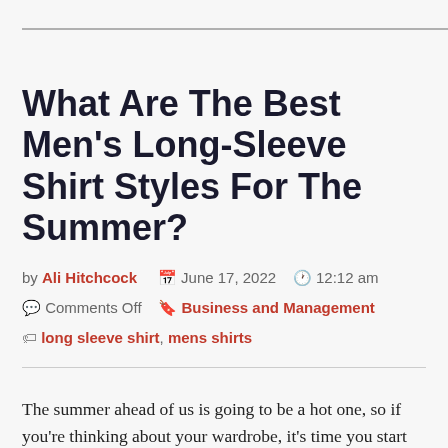What Are The Best Men's Long-Sleeve Shirt Styles For The Summer?
by Ali Hitchcock   June 17, 2022   12:12 am   Comments Off   Business and Management   long sleeve shirt, mens shirts
The summer ahead of us is going to be a hot one, so if you're thinking about your wardrobe, it's time you start considering what men's long-sleeve shirt styles